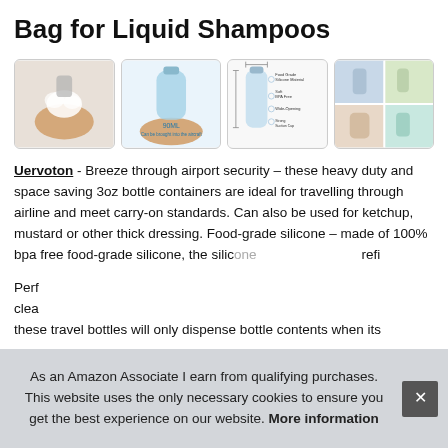Bag for Liquid Shampoos
[Figure (photo): Four product images showing silicone travel bottles: hand dispensing foam, bottle with 90ML label shown on hand, product dimensions and features diagram, and collage of bottle use scenarios]
Uervoton - Breeze through airport security – these heavy duty and space saving 3oz bottle containers are ideal for travelling through airline and meet carry-on standards. Can also be used for ketchup, mustard or other thick dressing. Food-grade silicone – made of 100% bpa free food-grade silicone, the silicone... refi...
Perf... clea... these travel bottles will only dispense bottle contents when its
As an Amazon Associate I earn from qualifying purchases. This website uses the only necessary cookies to ensure you get the best experience on our website. More information